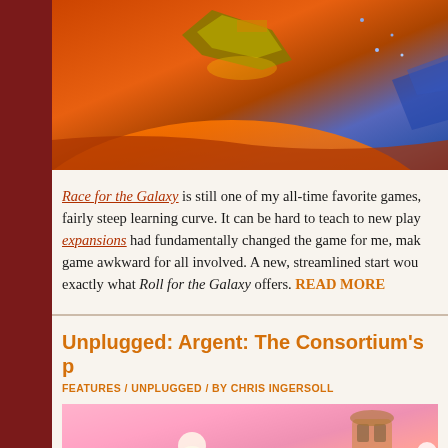[Figure (illustration): Sci-fi space scene with large spacecraft over an orange-red planet surface, purple nebula in background with smaller ships]
Race for the Galaxy is still one of my all-time favorite games, fairly steep learning curve. It can be hard to teach to new players. expansions had fundamentally changed the game for me, making the game awkward for all involved. A new, streamlined start would be exactly what Roll for the Galaxy offers. READ MORE
Unplugged: Argent: The Consortium's p...
FEATURES / UNPLUGGED / BY CHRIS INGERSOLL
[Figure (illustration): Fantasy/colorful game art showing characters in a stylized landscape with pink skies]